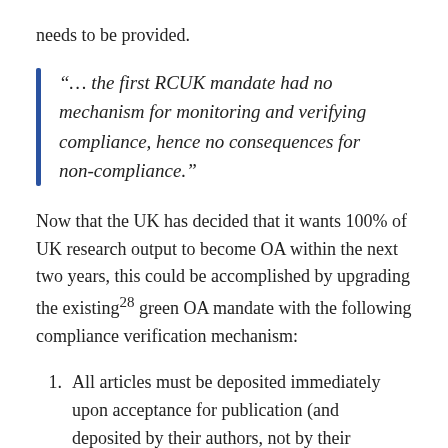needs to be provided.
“… the first RCUK mandate had no mechanism for monitoring and verifying compliance, hence no consequences for non-compliance.”
Now that the UK has decided that it wants 100% of UK research output to become OA within the next two years, this could be accomplished by upgrading the existing²⁸ green OA mandate with the following compliance verification mechanism:
All articles must be deposited immediately upon acceptance for publication (and deposited by their authors, not by their publishers!). Publisher